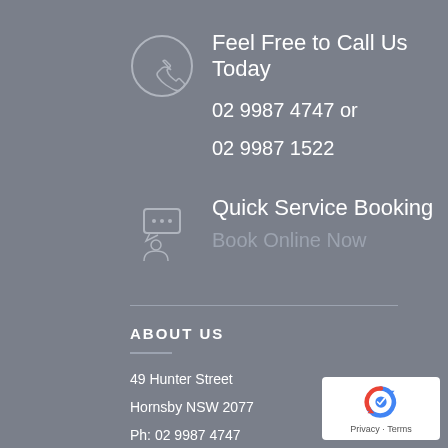[Figure (illustration): Phone/call icon inside a circle, light gray outline style]
Feel Free to Call Us Today
02 9987 4747 or
02 9987 1522
[Figure (illustration): Chat/booking icon showing a person with a speech bubble containing dots]
Quick Service Booking
Book Online Now
ABOUT US
49 Hunter Street
Hornsby NSW 2077
Ph: 02 9987 4747